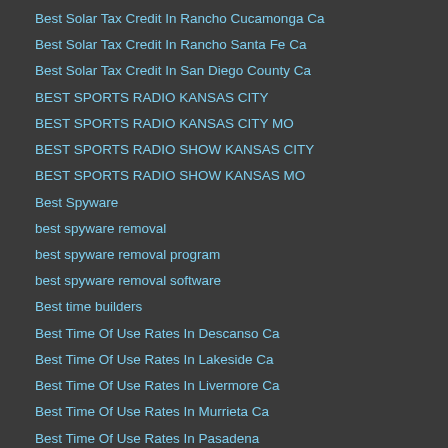Best Solar Tax Credit In Rancho Cucamonga Ca
Best Solar Tax Credit In Rancho Santa Fe Ca
Best Solar Tax Credit In San Diego County Ca
BEST SPORTS RADIO KANSAS CITY
BEST SPORTS RADIO KANSAS CITY MO
BEST SPORTS RADIO SHOW KANSAS CITY
BEST SPORTS RADIO SHOW KANSAS MO
Best Spyware
best spyware removal
best spyware removal program
best spyware removal software
Best time builders
Best Time Of Use Rates In Descanso Ca
Best Time Of Use Rates In Lakeside Ca
Best Time Of Use Rates In Livermore Ca
Best Time Of Use Rates In Murrieta Ca
Best Time Of Use Rates In Pasadena